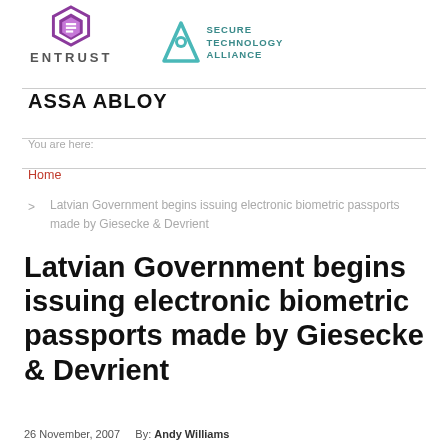[Figure (logo): Entrust logo with purple hexagon icon and ENTRUST text]
[Figure (logo): Secure Technology Alliance logo with teal triangle icon]
[Figure (logo): ASSA ABLOY text logo in bold black]
You are here:
Home
> Latvian Government begins issuing electronic biometric passports made by Giesecke & Devrient
Latvian Government begins issuing electronic biometric passports made by Giesecke & Devrient
26 November, 2007   By: Andy Williams